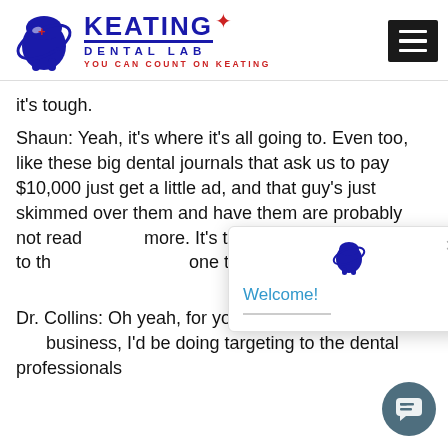[Figure (logo): Keating Dental Lab logo with blue tooth icon, 'KEATING' in large blue letters, 'DENTAL LAB' below, tagline 'YOU CAN COUNT ON KEATING' in red, and a red star accent]
it's tough.
Shaun: Yeah, it's where it's all going to. Even too, like these big dental journals that ask us to pay $10,000 just get a little ad, and that guy's just skimmed over them and have them are probably not reading that a nore. It's tough. Everything's going to th one that the screens are get
[Figure (screenshot): Popup widget with tooth icon, 'Welcome!' text in blue, close X button, and partial underline]
[Figure (other): Dark teal circular chat button with chat icon]
Dr. Collins: Oh yeah, for your business, if I was in y business, I'd be doing targeting to the dental professionals